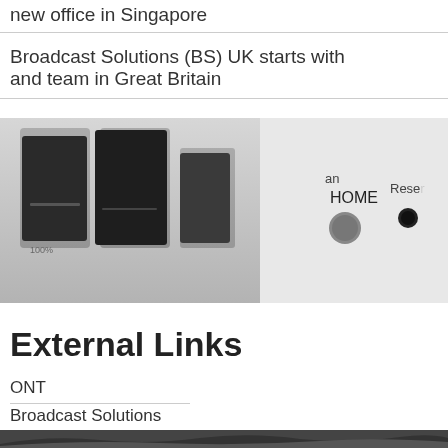new office in Singapore
Broadcast Solutions (BS) UK starts with and team in Great Britain
[Figure (photo): Close-up photo of broadcast equipment panel showing HOME and Reset buttons/controls]
External Links
ONT
Broadcast Solutions
[Figure (photo): Black and white landscape photo, partially visible at bottom of page]